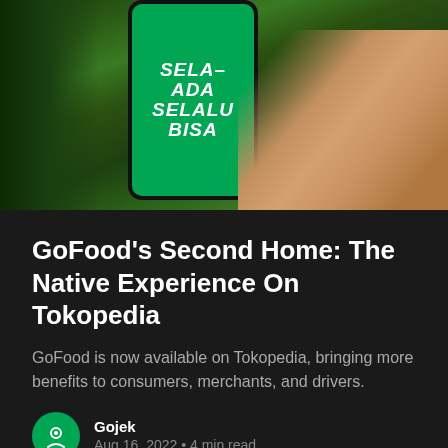[Figure (photo): A person holding a smartphone displaying the GoFood/Gojek app with a green screen showing 'ADA SELALU BISA' text, surrounded by tropical green leaves in the background]
GoFood's Second Home: The Native Experience On Tokopedia
GoFood is now available on Tokopedia, bringing more benefits to consumers, merchants, and drivers.
Gojek
Aug 16, 2022 • 4 min read
Gojek Tech © 2022
Powered by Ghost